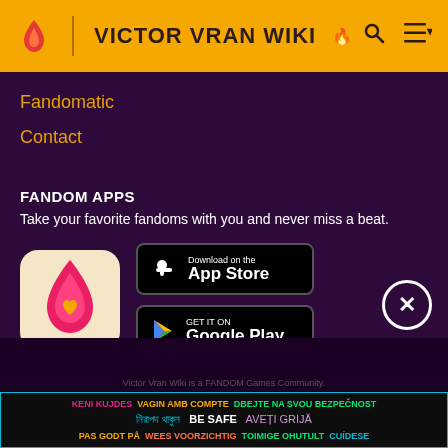VICTOR VRAN WIKI
Fandomatic
Contact
FANDOM APPS
Take your favorite fandoms with you and never miss a beat.
[Figure (logo): Fandom app icon - flame with heart on beige background]
[Figure (logo): Download on the App Store button]
[Figure (logo): GET IT ON Google Play button]
Victor Vran Wiki is a FANDOM Games Community.
KENI KUJDES VAGIN AMB COMPTE DBEJTE NA SVOU BEZPEČNOST নিরাপদ থাকুন BE SAFE AVEȚI GRIJĂ PAS GODT PÅ WEES VOORZICHTIG TOIMIGE OHUTULT CUÍDESE